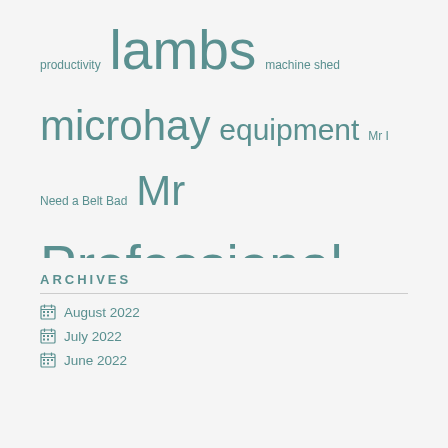productivity lambs machine shed microhay equipment Mr I Need a Belt Bad Mr Professional Mr Rainman Mr Tex New office Planting predators quail racoons ram remodel Sheep snow spring tag and band animals tractor water weather weeds winter is coming working dogs
ARCHIVES
August 2022
July 2022
June 2022